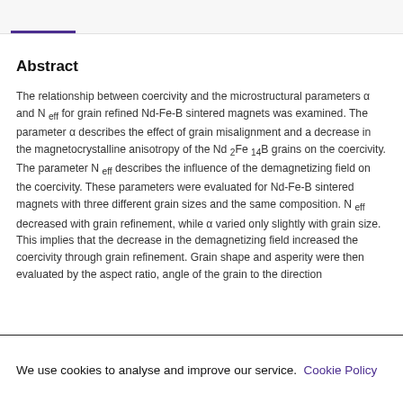Abstract
The relationship between coercivity and the microstructural parameters α and N eff for grain refined Nd-Fe-B sintered magnets was examined. The parameter α describes the effect of grain misalignment and a decrease in the magnetocrystalline anisotropy of the Nd 2Fe 14B grains on the coercivity. The parameter N eff describes the influence of the demagnetizing field on the coercivity. These parameters were evaluated for Nd-Fe-B sintered magnets with three different grain sizes and the same composition. N eff decreased with grain refinement, while α varied only slightly with grain size. This implies that the decrease in the demagnetizing field increased the coercivity through grain refinement. Grain shape and asperity were then evaluated by the aspect ratio, angle of the grain to the direction
We use cookies to analyse and improve our service. Cookie Policy